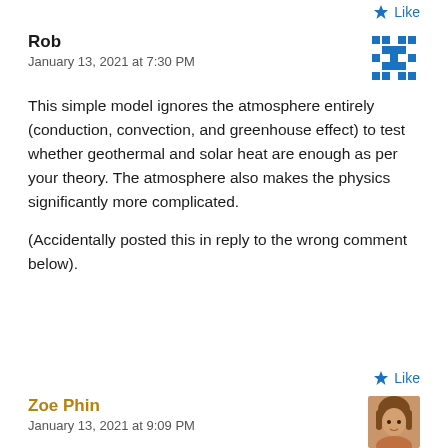Like
Rob
January 13, 2021 at 7:30 PM
This simple model ignores the atmosphere entirely (conduction, convection, and greenhouse effect) to test whether geothermal and solar heat are enough as per your theory. The atmosphere also makes the physics significantly more complicated.

(Accidentally posted this in reply to the wrong comment below).
Like
Zoe Phin
January 13, 2021 at 9:09 PM
Rob,

Your precious “greenhouse house” effect IS